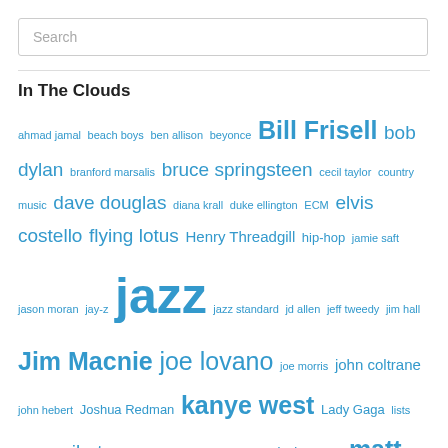Search
In The Clouds
ahmad jamal beach boys ben allison beyonce Bill Frisell bob dylan branford marsalis bruce springsteen cecil taylor country music dave douglas diana krall duke ellington ECM elvis costello flying lotus Henry Threadgill hip-hop jamie saft jason moran jay-z jazz jazz standard jd allen jeff tweedy jim hall Jim Macnie joe lovano joe morris john coltrane john hebert Joshua Redman kanye west Lady Gaga lists marc ribot mark cutler marty ehrlich mary halvorson matt wilson Miles Davis morning/night mostly other people do the killing music nels cline newport jazz festival npr nrbq ornette coleman orrin evans paul motian Peter Stampfel Prince randy